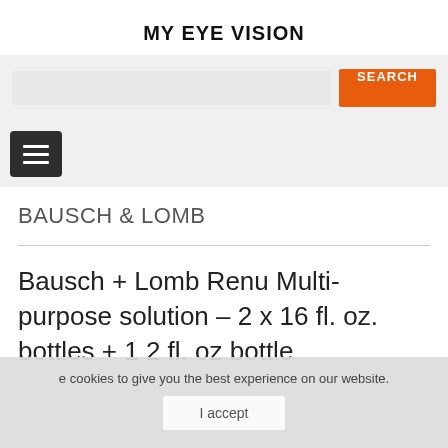MY EYE VISION
[Figure (screenshot): Search bar with orange SEARCH button on grey background]
[Figure (screenshot): Navigation hamburger menu button (dark background with three white lines)]
BAUSCH & LOMB
Bausch + Lomb Renu Multi-purpose solution – 2 x 16 fl. oz. bottles + 1 2 fl. oz bottle
e cookies to give you the best experience on our website.
I accept